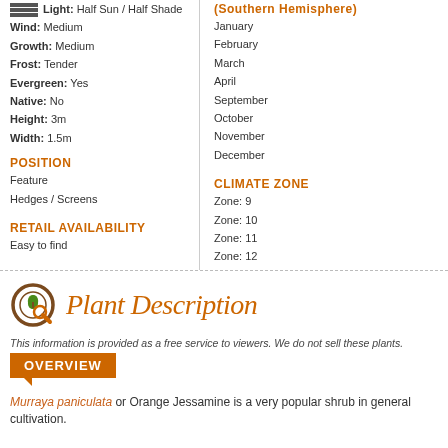Light: Half Sun / Half Shade
Wind: Medium
Growth: Medium
Frost: Tender
Evergreen: Yes
Native: No
Height: 3m
Width: 1.5m
POSITION
Feature
Hedges / Screens
RETAIL AVAILABILITY
Easy to find
(Southern Hemisphere)
January
February
March
April
September
October
November
December
CLIMATE ZONE
Zone: 9
Zone: 10
Zone: 11
Zone: 12
[Figure (logo): Plant Description logo with circular icon showing a plant/leaf symbol in green and brown, with a magnifying glass, next to stylized italic text 'Plant Description' in orange]
This information is provided as a free service to viewers. We do not sell these plants.
OVERVIEW
Murraya paniculata or Orange Jessamine is a very popular shrub in general cultivation.